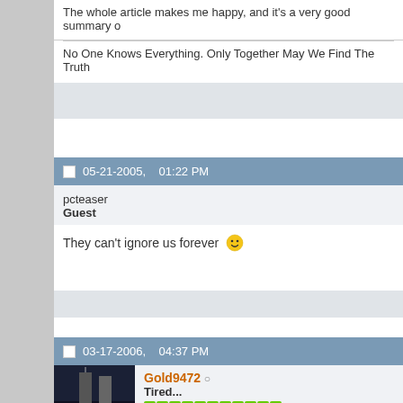The whole article makes me happy, and it's a very good summary o
No One Knows Everything. Only Together May We Find The Truth
05-21-2005,    01:22 PM
pcteaser
Guest
They can't ignore us forever 🙂
03-17-2006,    04:37 PM
Gold9472
Tired...